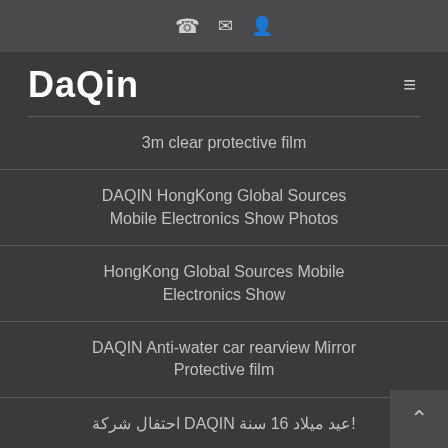☎ ✉ 👤
DaQin
3m clear protective film
DAQIN HongKong Global Sources Mobile Electronics Show Photos
HongKong Global Sources Mobile Electronics Show
DAQIN Anti-water car rearview Mirror Protective film
!عيد ميلاد 16 سنة DAQIN احتفال شركة